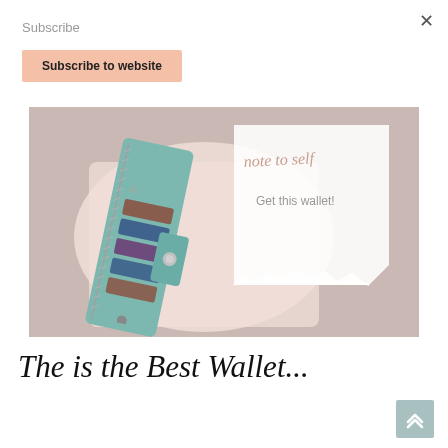Subscribe
Subscribe to website
[Figure (photo): A teal/green leather wallet with multiple card slots and zipper, open to show colorful cards, shown on a pink background with a torn paper note reading 'note to self – Get this wallet!']
The is the Best Wallet...